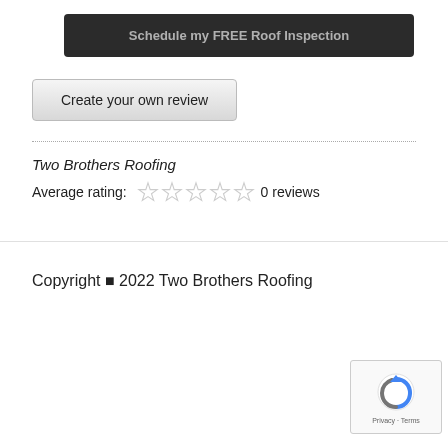[Figure (screenshot): Dark button with text 'Schedule my FREE Roof Inspection']
[Figure (screenshot): Gray button with text 'Create your own review']
Two Brothers Roofing
Average rating:  0 reviews
Copyright © 2022 Two Brothers Roofing
[Figure (logo): Google reCAPTCHA badge with Privacy and Terms links]